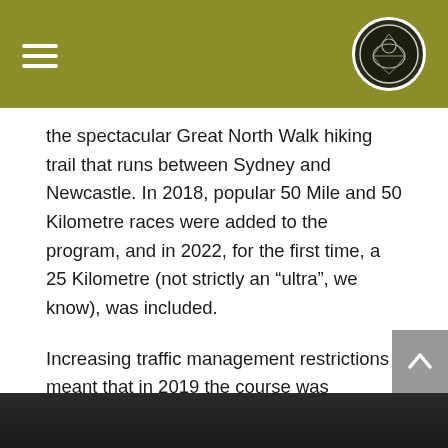the spectacular Great North Walk hiking trail that runs between Sydney and Newcastle. In 2018, popular 50 Mile and 50 Kilometre races were added to the program, and in 2022, for the first time, a 25 Kilometre (not strictly an “ultra”, we know), was included.
Increasing traffic management restrictions meant that in 2019 the course was changed to ensure the GNW Ultras can continue into the future. The new courses, which remain a challenging test for any runner, all start and finish at the major event hub in Patonga and include parts of the GNW along with other trails in scenic Brisbane Water National Park.
[Figure (photo): Bottom partial image, dark/black, appears to be a nature or race event photo, partially cropped]